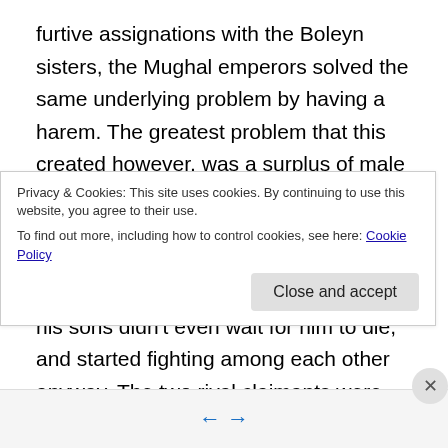furtive assignations with the Boleyn sisters, the Mughal emperors solved the same underlying problem by having a harem. The greatest problem that this created however, was a surplus of male claimants to the throne in the event that the emperor died. The usual outcome of this was to produce a civil war whenever that happened. In Shah Jehan's case his sons didn't even wait for him to die, and started fighting among each other anyway. The two rival claimants were the emperor's favourite Dara, and his younger brother Aurangzeb. Jehan had groomed Dara for power: well educated and urbane, he would have been a
Privacy & Cookies: This site uses cookies. By continuing to use this website, you agree to their use.
To find out more, including how to control cookies, see here: Cookie Policy
Close and accept